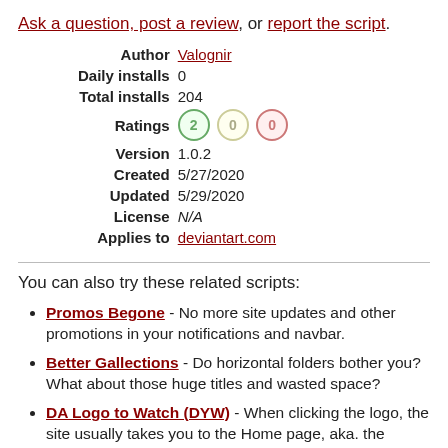Ask a question, post a review, or report the script.
| Label | Value |
| --- | --- |
| Author | Valognir |
| Daily installs | 0 |
| Total installs | 204 |
| Ratings | 2 0 0 |
| Version | 1.0.2 |
| Created | 5/27/2020 |
| Updated | 5/29/2020 |
| License | N/A |
| Applies to | deviantart.com |
You can also try these related scripts:
Promos Begone - No more site updates and other promotions in your notifications and navbar.
Better Gallections - Do horizontal folders bother you? What about those huge titles and wasted space?
DA Logo to Watch (DYW) - When clicking the logo, the site usually takes you to the Home page, aka. the recommended food. This script will change the